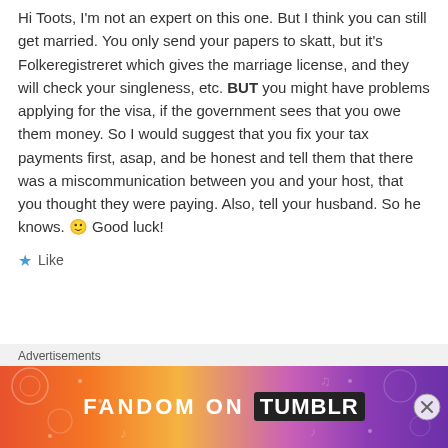Hi Toots, I'm not an expert on this one. But I think you can still get married. You only send your papers to skatt, but it's Folkeregistreret which gives the marriage license, and they will check your singleness, etc. BUT you might have problems applying for the visa, if the government sees that you owe them money. So I would suggest that you fix your tax payments first, asap, and be honest and tell them that there was a miscommunication between you and your host, that you thought they were paying. Also, tell your husband. So he knows. 🙂 Good luck!
★ Like
Advertisements
[Figure (infographic): Fandom on Tumblr advertisement banner with colorful gradient background (orange to purple) and white decorative elements]